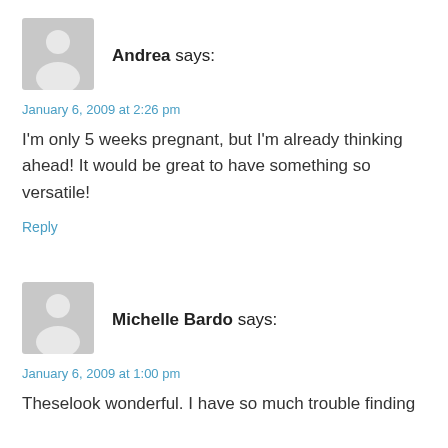[Figure (illustration): Gray placeholder avatar silhouette icon for commenter Andrea]
Andrea says:
January 6, 2009 at 2:26 pm
I'm only 5 weeks pregnant, but I'm already thinking ahead! It would be great to have something so versatile!
Reply
[Figure (illustration): Gray placeholder avatar silhouette icon for commenter Michelle Bardo]
Michelle Bardo says:
January 6, 2009 at 1:00 pm
Theselook wonderful. I have so much trouble finding